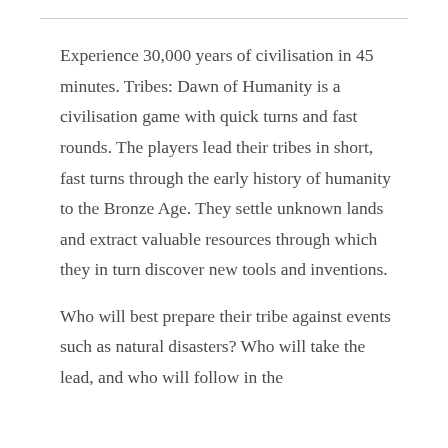Experience 30,000 years of civilisation in 45 minutes. Tribes: Dawn of Humanity is a civilisation game with quick turns and fast rounds. The players lead their tribes in short, fast turns through the early history of humanity to the Bronze Age. They settle unknown lands and extract valuable resources through which they in turn discover new tools and inventions.
Who will best prepare their tribe against events such as natural disasters? Who will take the lead, and who will follow in the